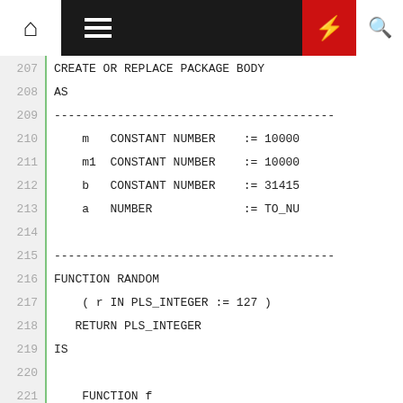Navigation header with home, menu, bolt, and search icons
207  CREATE OR REPLACE PACKAGE BODY
208  AS
209  ----------------------------------------
210      m   CONSTANT NUMBER    := 10000
211      m1  CONSTANT NUMBER    := 10000
212      b   CONSTANT NUMBER    := 31415
213      a   NUMBER             := TO_NU
214  
215  ----------------------------------------
216  FUNCTION RANDOM
217      ( r IN PLS_INTEGER := 127 )
218     RETURN PLS_INTEGER
219  IS
220  
221      FUNCTION f
222          ( p IN NUMBER
223          , q IN NUMBER)
224         RETURN NUMBER
225      IS
226          p1      NUMBER;
227          p0      NUMBER;
228          q1      NUMBER;
229          q0      NUMBER;